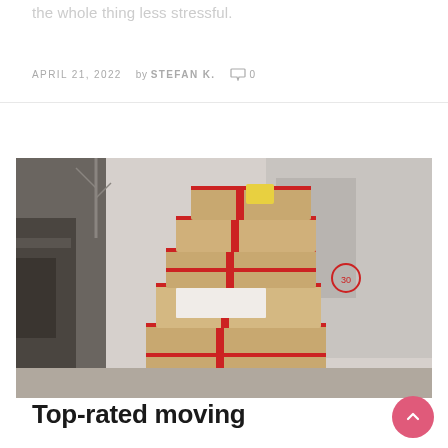the whole thing less stressful.
APRIL 21, 2022   by STEFAN K.   ○ 0
[Figure (photo): Stack of cardboard boxes wrapped with red tape/straps stacked high on a pallet in front of a building, with a moving truck visible on the left side.]
Top-rated moving